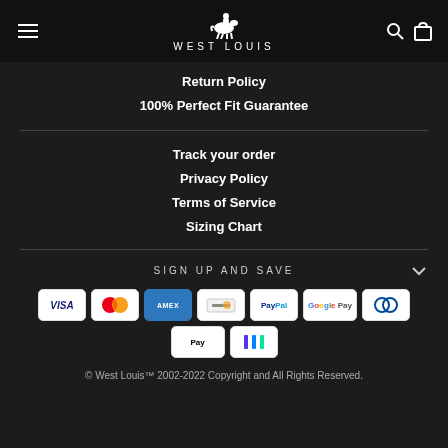WEST LOUIS
Return Policy
100% Perfect Fit Guarantee
Track your order
Privacy Policy
Terms of Service
Sizing Chart
SIGN UP AND SAVE
[Figure (logo): Payment method logos: Visa, Mastercard, Amex, Generic card, PayPal, Google Pay, Diners Club, Apple Pay, Shop Pay]
© West Louis™ 2002-2022 Copyright and All Rights Reserved.